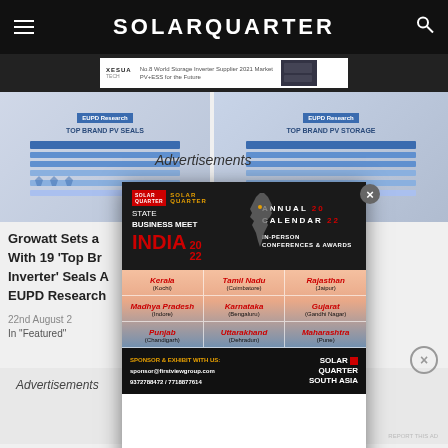SOLARQUARTER
[Figure (screenshot): SolarQuarter website screenshot with header, ad banner, article thumbnails, and popup modal for Solar Quarter State Business Meet India 2022 Annual Calendar with states grid]
Advertisements
Growatt Sets a... Top With 19 'Top Br... Seals Inverter' Seals ... Storage EUPD Research
22nd August 2...
In "Featured"
Advertisements